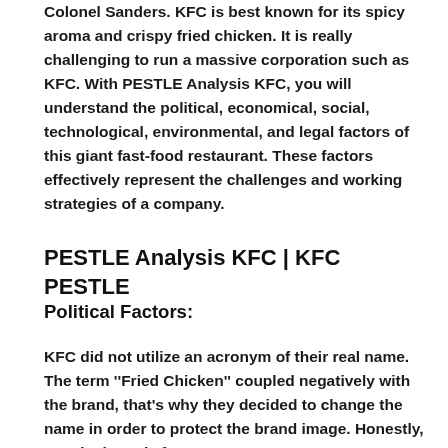Colonel Sanders. KFC is best known for its spicy aroma and crispy fried chicken. It is really challenging to run a massive corporation such as KFC. With PESTLE Analysis KFC, you will understand the political, economical, social, technological, environmental, and legal factors of this giant fast-food restaurant. These factors effectively represent the challenges and working strategies of a company.
PESTLE Analysis KFC | KFC PESTLE
Political Factors:
KFC did not utilize an acronym of their real name. The term ''Fried Chicken'' coupled negatively with the brand, that's why they decided to change the name in order to protect the brand image. Honestly, KFC is the only fast-